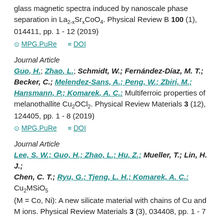glass magnetic spectra induced by nanoscale phase separation in La2-xSrxCoO4. Physical Review B 100 (1), 014411, pp. 1 - 12 (2019)
MPG.PuRe   DOI
Journal Article
Guo, H.; Zhao, L.; Schmidt, W.; Fernández-Díaz, M. T.; Becker, C.; Melendez-Sans, A.; Peng, W.; Zbiri, M.; Hansmann, P.; Komarek, A. C.: Multiferroic properties of melanothallite Cu2OCl2. Physical Review Materials 3 (12), 124405, pp. 1 - 8 (2019)
MPG.PuRe   DOI
Journal Article
Lee, S. W.; Guo, H.; Zhao, L.; Hu, Z.; Mueller, T.; Lin, H. J.; Chen, C. T.; Ryu, G.; Tjeng, L. H.; Komarek, A. C.: Cu2MSiO5 (M = Co, Ni): A new silicate material with chains of Cu and M ions. Physical Review Materials 3 (3), 034408, pp. 1 - 7